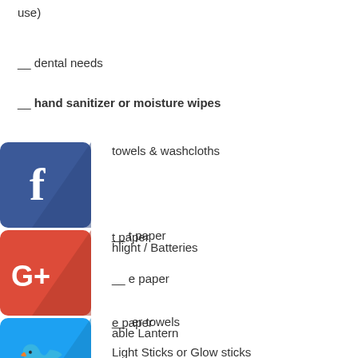use)
__ dental needs
__ hand sanitizer or moisture wipes
towels & washcloths
__ t paper
__ e paper
__ er towels
__ hlight / Batteries
__ able Lantern
__ Light Sticks or Glow sticks
[Figure (illustration): Social media share buttons: Facebook, Google+, Twitter, Pinterest, Blogger, YouTube icons stacked vertically on the left side]